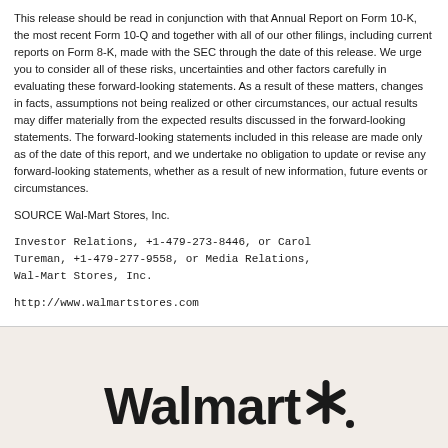This release should be read in conjunction with that Annual Report on Form 10-K, the most recent Form 10-Q and together with all of our other filings, including current reports on Form 8-K, made with the SEC through the date of this release. We urge you to consider all of these risks, uncertainties and other factors carefully in evaluating these forward-looking statements. As a result of these matters, changes in facts, assumptions not being realized or other circumstances, our actual results may differ materially from the expected results discussed in the forward-looking statements. The forward-looking statements included in this release are made only as of the date of this report, and we undertake no obligation to update or revise any forward-looking statements, whether as a result of new information, future events or circumstances.
SOURCE Wal-Mart Stores, Inc.
Investor Relations, +1-479-273-8446, or Carol Tureman, +1-479-277-9558, or Media Relations, Wal-Mart Stores, Inc.
http://www.walmartstores.com
[Figure (logo): Walmart logo with spark/asterisk symbol in black on light beige background]